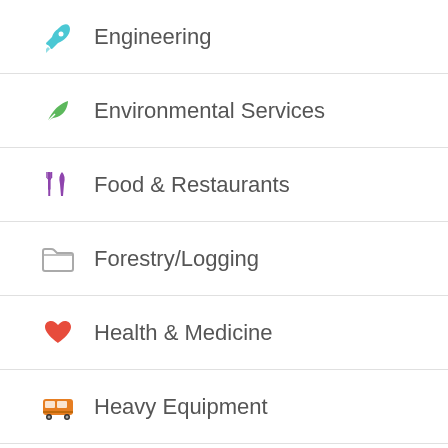Engineering
Environmental Services
Food & Restaurants
Forestry/Logging
Health & Medicine
Heavy Equipment